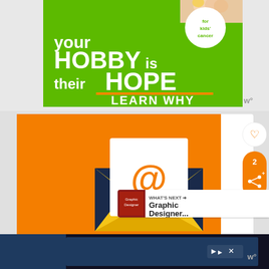[Figure (photo): Advertisement banner: green background with text 'your HOBBY is their HOPE - LEARN WHY' and circular badge 'for kids cancer', with hand holding coin at top]
[Figure (illustration): Orange background with email envelope illustration showing @ symbol on letter inside open yellow envelope]
[Figure (infographic): WHAT'S NEXT arrow with Graphic Designer thumbnail preview]
[Figure (screenshot): Bottom advertisement bar with blue background, skip/close controls, and Wattpad logo]